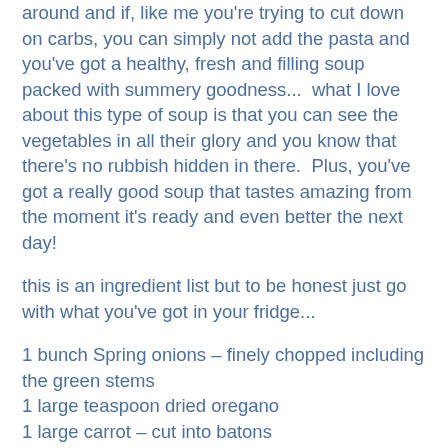around and if, like me you're trying to cut down on carbs, you can simply not add the pasta and you've got a healthy, fresh and filling soup packed with summery goodness...  what I love about this type of soup is that you can see the vegetables in all their glory and you know that there's no rubbish hidden in there.  Plus, you've got a really good soup that tastes amazing from the moment it's ready and even better the next day!
this is an ingredient list but to be honest just go with what you've got in your fridge...
1 bunch Spring onions – finely chopped including the green stems
1 large teaspoon dried oregano
1 large carrot – cut into batons
1 fennel bulb – chopped